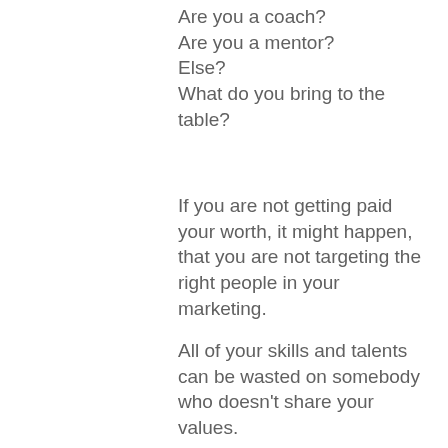Are you a coach?
Are you a mentor?
Else?
What do you bring to the table?
If you are not getting paid your worth, it might happen, that you are not targeting the right people in your marketing.
All of your skills and talents can be wasted on somebody who doesn't share your values.
You might be offering productivity or high performance tips to people who are happily content.